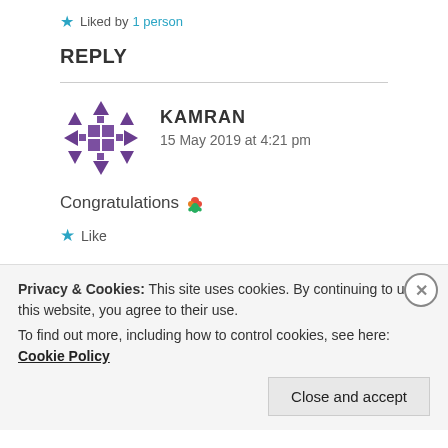★ Liked by 1 person
REPLY
[Figure (illustration): Avatar icon: purple geometric circle/diamond pattern made of triangles and squares]
KAMRAN
15 May 2019 at 4:21 pm
Congratulations 🎊
★ Like
Privacy & Cookies: This site uses cookies. By continuing to use this website, you agree to their use.
To find out more, including how to control cookies, see here: Cookie Policy
Close and accept